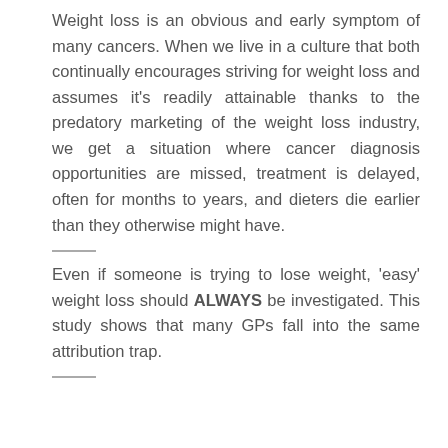Weight loss is an obvious and early symptom of many cancers. When we live in a culture that both continually encourages striving for weight loss and assumes it's readily attainable thanks to the predatory marketing of the weight loss industry, we get a situation where cancer diagnosis opportunities are missed, treatment is delayed, often for months to years, and dieters die earlier than they otherwise might have.
Even if someone is trying to lose weight, 'easy' weight loss should ALWAYS be investigated. This study shows that many GPs fall into the same attribution trap.